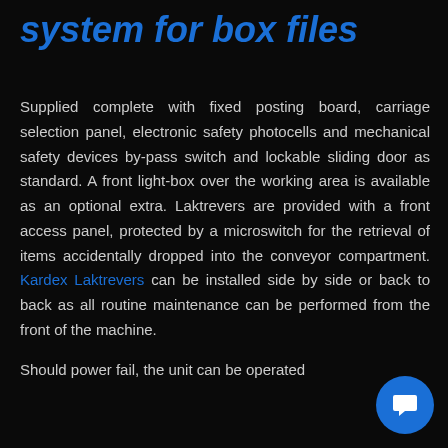system for box files
Supplied complete with fixed posting board, carriage selection panel, electronic safety photocells and mechanical safety devices by-pass switch and lockable sliding door as standard. A front light-box over the working area is available as an optional extra. Laktrevers are provided with a front access panel, protected by a microswitch for the retrieval of items accidentally dropped into the conveyor compartment. Kardex Laktrevers can be installed side by side or back to back as all routine maintenance can be performed from the front of the machine. Should power fail, the unit can be operated...